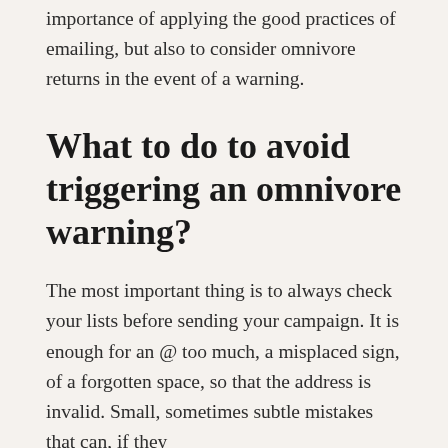importance of applying the good practices of emailing, but also to consider omnivore returns in the event of a warning.
What to do to avoid triggering an omnivore warning?
The most important thing is to always check your lists before sending your campaign. It is enough for an @ too much, a misplaced sign, of a forgotten space, so that the address is invalid. Small, sometimes subtle mistakes that can, if they